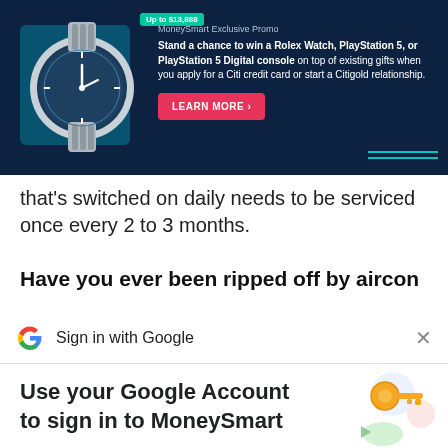[Figure (infographic): MoneySmart advertisement banner with a Rolex watch image on dark navy background. Shows 'Up to $13,888' badge, MoneySmart Exclusive Promo text, promotional copy about winning a Rolex Watch, PlayStation 5, or PlayStation 5 Digital console when applying for a Citi credit card or Citigold relationship. Pink 'LEARN MORE >' button.]
that's switched on daily needs to be serviced once every 2 to 3 months.
Have you ever been ripped off by aircon
[Figure (screenshot): Google Sign in with Google bar with Google G logo on the left and X close button on the right]
Use your Google Account to sign in to MoneySmart
No more passwords to remember. Signing in is fast, simple and secure.
[Figure (illustration): Google key illustration with colorful circles]
Continue